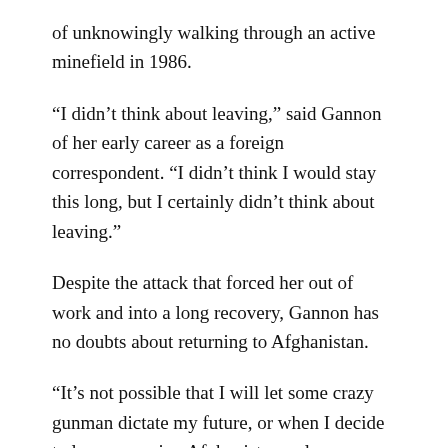of unknowingly walking through an active minefield in 1986.
“I didn’t think about leaving,” said Gannon of her early career as a foreign correspondent. “I didn’t think I would stay this long, but I certainly didn’t think about leaving.”
Despite the attack that forced her out of work and into a long recovery, Gannon has no doubts about returning to Afghanistan.
“It’s not possible that I will let some crazy gunman dictate my future, or when I decide to leave covering Afghanistan or leave reporting,” said Gannon. “I’ll go back, and I’ll go back working with Associated Press.”